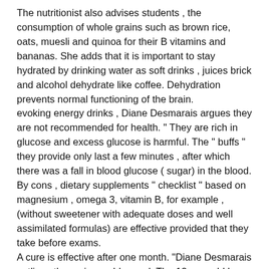The nutritionist also advises students , the consumption of whole grains such as brown rice, oats, muesli and quinoa for their B vitamins and bananas. She adds that it is important to stay hydrated by drinking water as soft drinks , juices brick and alcohol dehydrate like coffee. Dehydration prevents normal functioning of the brain.
evoking energy drinks , Diane Desmarais argues they are not recommended for health. " They are rich in glucose and excess glucose is harmful. The " buffs " they provide only last a few minutes , after which there was a fall in blood glucose ( sugar) in the blood. By cons , dietary supplements " checklist " based on magnesium , omega 3, vitamin B, for example , (without sweetener with adequate doses and well assimilated formulas) are effective provided that they take before exams.
A cure is effective after one month. "Diane Desmarais outlines the raisonnable meal. The 12 year old has more or less the same needs (in terms of memory ) than adolescents. That's why she recommends for breakfast , oatmeal , and for dinner , complete starches (such as brown rice ) , green vegetables , protein ( fish / dry beans ) , fresh fruit and raw nuts as a snack and plenty of water during the day.
Mayaven Mutha Pillay : " Working on Stress "